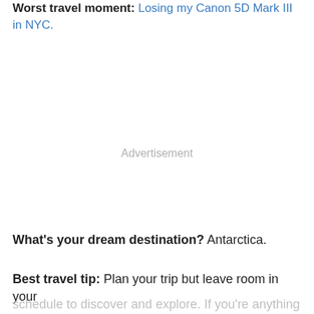Worst travel moment: Losing my Canon 5D Mark III in NYC.
Advertisement
What's your dream destination? Antarctica.
Best travel tip: Plan your trip but leave room in your schedule to discover and explore. If you're anything